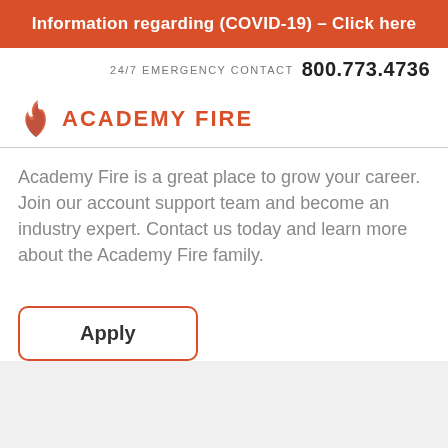Information regarding (COVID-19) - Click here
24/7 EMERGENCY CONTACT   800.773.4736
[Figure (logo): Academy Fire logo with flame icon and text ACADEMY FIRE in orange]
Academy Fire is a great place to grow your career. Join our account support team and become an industry expert. Contact us today and learn more about the Academy Fire family.
Apply